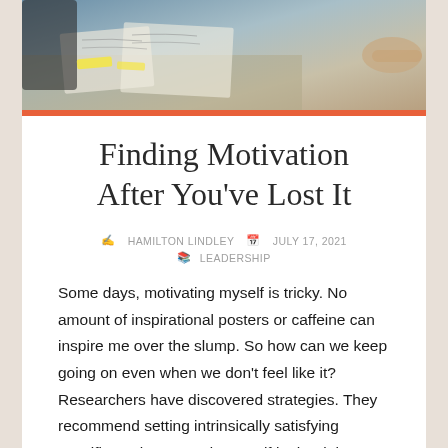[Figure (photo): Hero image showing a person working at a desk with papers and notes, warm toned photography of a work/planning scene.]
Finding Motivation After You've Lost It
✍ HAMILTON LINDLEY  📅 JULY 17, 2021  📚 LEADERSHIP
Some days, motivating myself is tricky. No amount of inspirational posters or caffeine can inspire me over the slump. So how can we keep going on even when we don't feel like it? Researchers have discovered strategies. They recommend setting intrinsically satisfying specific goals. Reward yourself in the right way for getting things done, break goals into subgoals, and practice social influence.